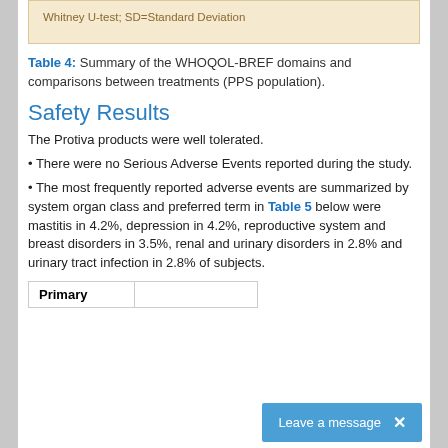Whitney U-test; SD=Standard Deviation
Table 4: Summary of the WHOQOL-BREF domains and comparisons between treatments (PPS population).
Safety Results
The Protiva products were well tolerated.
• There were no Serious Adverse Events reported during the study.
• The most frequently reported adverse events are summarized by system organ class and preferred term in Table 5 below were mastitis in 4.2%, depression in 4.2%, reproductive system and breast disorders in 3.5%, renal and urinary disorders in 2.8% and urinary tract infection in 2.8% of subjects.
| Primary |  |
| --- | --- |